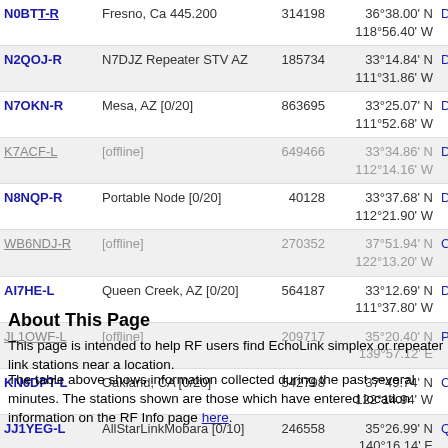| Callsign | Description | SSID | Coordinates | Grid |
| --- | --- | --- | --- | --- |
| N0BTT-R | Fresno, Ca 445.200 | 314198 | 36°38.00' N 118°56.40' W | DM06mp |
| N2QOJ-R | N7DJZ Repeater STV AZ | 185734 | 33°14.84' N 111°31.86' W | DM43ff |
| N7OKN-R | Mesa, AZ [0/20] | 863695 | 33°25.07' N 111°52.68' W | DM43bk |
| K7ACF-L | [offline] | 649466 | 33°34.86' N 112°14.16' W | DM33vn |
| N8NQP-R | Portable Node [0/20] | 40128 | 33°37.68' N 112°21.90' W | DM33tp |
| WB6NDJ-R | [offline] | 270352 | 37°51.94' N 122°13.20' W | CM87vu |
| AI7HE-L | Queen Creek, AZ [0/20] | 564187 | 33°12.69' N 111°37.80' W | DM43ef |
| JL1OWF-L | [offline] | 209717 | 35°20.40' N 139°57.12' E | PM95xi |
| KN6DPT-L | Oakland, CA [0/20] | 542798 | 37°49.74' N 122°14.94' W | CM87vt |
| JJ1YEG-L | AllStarLinkMobara [0/10] | 246558 | 35°26.99' N 140°16.14' E | QM05dk |
About This Page
This page is intended to help RF users find EchoLink simplex or repeater link stations near a location.
The table above shows information collected during the past several minutes. The stations shown are those which have entered location information on the RF Info page here.